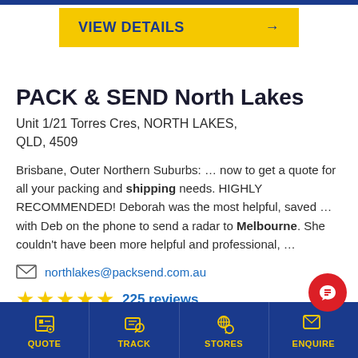VIEW DETAILS →
PACK & SEND North Lakes
Unit 1/21 Torres Cres, NORTH LAKES, QLD, 4509
Brisbane, Outer Northern Suburbs: … now to get a quote for all your packing and shipping needs. HIGHLY RECOMMENDED! Deborah was the most helpful, saved … with Deb on the phone to send a radar to Melbourne. She couldn't have been more helpful and professional, …
northlakes@packsend.com.au
225 reviews
07 3049 7598
QUOTE  TRACK  STORES  ENQUIRE